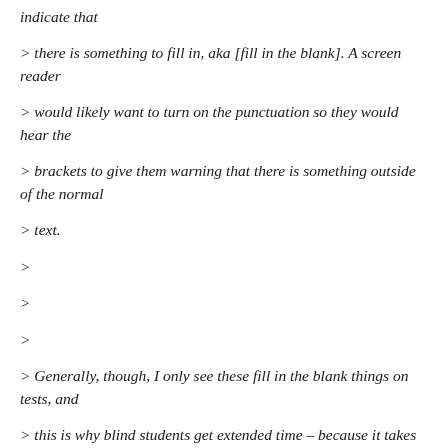indicate that
> there is something to fill in, aka [fill in the blank]. A screen reader
> would likely want to turn on the punctuation so they would hear the
> brackets to give them warning that there is something outside of the normal
> text.
>
>
>
> Generally, though, I only see these fill in the blank things on tests, and
> this is why blind students get extended time – because it takes longer to